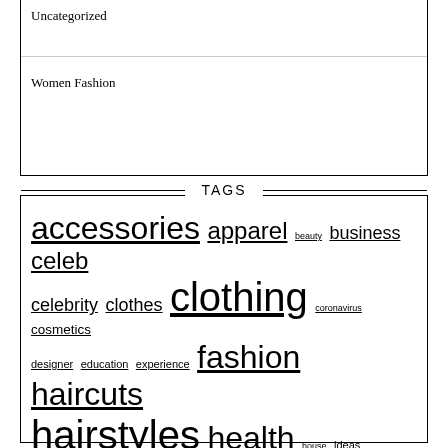Uncategorized
Women Fashion
TAGS
accessories apparel beauty business celeb celebrity clothes clothing coronavirus cosmetics designer education experience fashion haircuts hairstyles health house ideas improvement information latest laurent length makeup medium men39s network online paris products saint shoes shopping short skincare store stores street